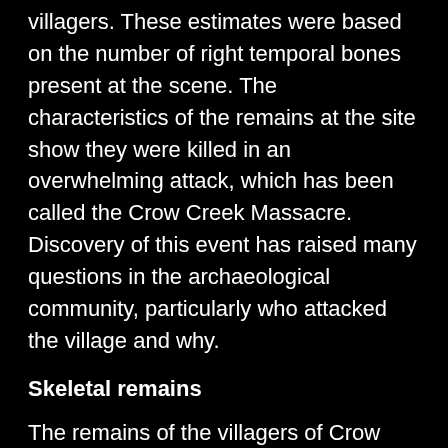villagers. These estimates were based on the number of right temporal bones present at the scene. The characteristics of the remains at the site show they were killed in an overwhelming attack, which has been called the Crow Creek Massacre. Discovery of this event has raised many questions in the archaeological community, particularly who attacked the village and why.
Skeletal remains
The remains of the villagers of Crow Creek were discovered in a fortification ditch, where they were buried during the mid-14th century and covered with a small layer of clay from the river bottom. The bodies found in the fortification ditch were piled as deep as four feet in some areas. The bodies showed evidence of having lain